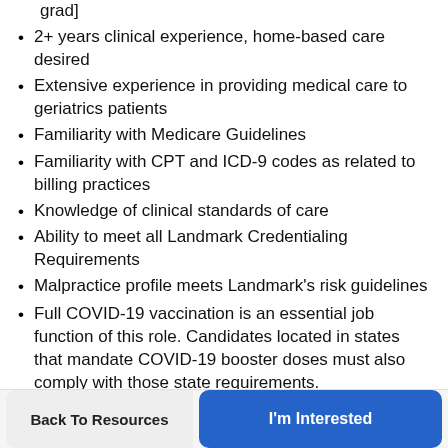grad]
2+ years clinical experience, home-based care desired
Extensive experience in providing medical care to geriatrics patients
Familiarity with Medicare Guidelines
Familiarity with CPT and ICD-9 codes as related to billing practices
Knowledge of clinical standards of care
Ability to meet all Landmark Credentialing Requirements
Malpractice profile meets Landmark's risk guidelines
Full COVID-19 vaccination is an essential job function of this role. Candidates located in states that mandate COVID-19 booster doses must also comply with those state requirements.